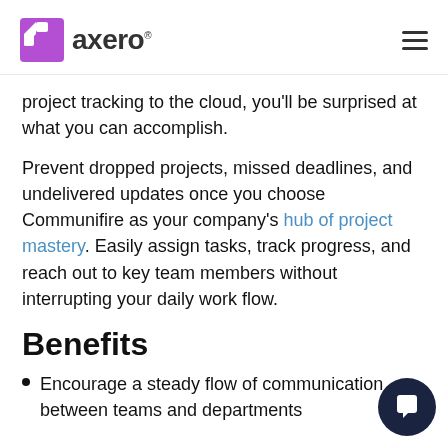axero
project tracking to the cloud, you'll be surprised at what you can accomplish.
Prevent dropped projects, missed deadlines, and undelivered updates once you choose Communifire as your company's hub of project mastery. Easily assign tasks, track progress, and reach out to key team members without interrupting your daily work flow.
Benefits
Encourage a steady flow of communication between teams and departments